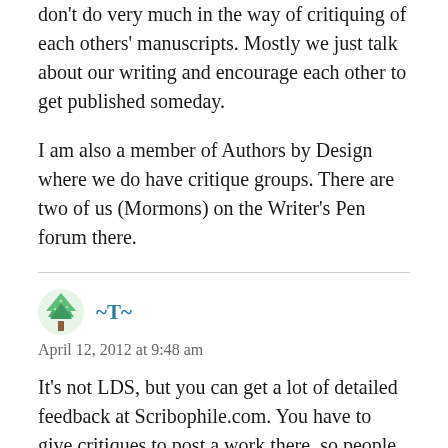don't do very much in the way of critiquing of each others' manuscripts. Mostly we just talk about our writing and encourage each other to get published someday.
I am also a member of Authors by Design where we do have critique groups. There are two of us (Mormons) on the Writer's Pen forum there.
~T~
April 12, 2012 at 9:48 am
It's not LDS, but you can get a lot of detailed feedback at Scribophile.com. You have to give critiques to post a work there, so people are